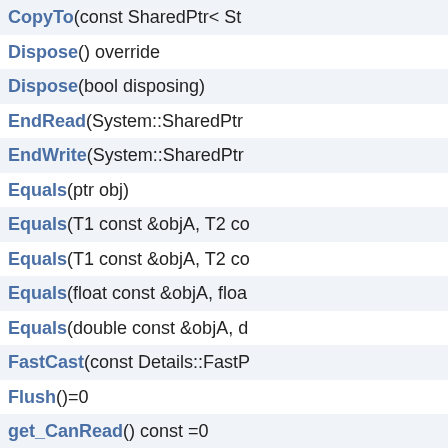CopyTo(const SharedPtr< St...
Dispose() override
Dispose(bool disposing)
EndRead(System::SharedPtr...
EndWrite(System::SharedPtr...
Equals(ptr obj)
Equals(T1 const &objA, T2 co...
Equals(T1 const &objA, T2 co...
Equals(float const &objA, floa...
Equals(double const &objA, d...
FastCast(const Details::FastP...
Flush()=0
get_CanRead() const =0
get_CanSeek() const =0
get_CanTimeout() const
get_CanWrite() const =0
get_InnerStream() const
get_IsAuthenticated() const
get_IsEncrypted() const =0